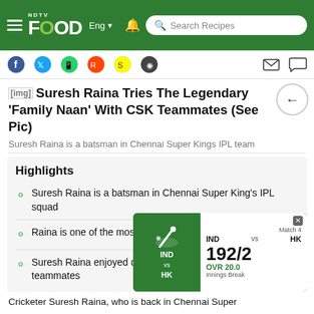NDTV FOOD Eng | Search Recipes
[Figure (screenshot): Social media sharing icons: Facebook, Twitter, WhatsApp, Reddit, Snapchat, and another icon, plus mail and chat icons on the right]
Suresh Raina Tries The Legendary 'Family Naan' With CSK Teammates (See Pic)
Suresh Raina is a batsman in Chennai Super Kings IPL team
Highlights
Suresh Raina is a batsman in Chennai Super King's IPL squad
Raina is one of the most valua...
Suresh Raina enjoyed de... teammates
[Figure (screenshot): Cricket score overlay widget showing Match 4: IND vs HK, score 192/2, OVR 20.0, Innings Break]
Cricketer Suresh Raina, who is back in Chennai Super